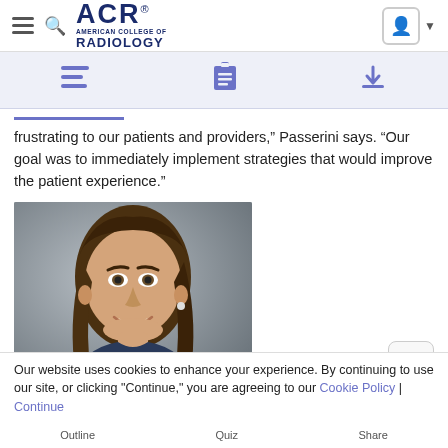ACR — American College of Radiology
frustrating to our patients and providers,” Passerini says. “Our goal was to immediately implement strategies that would improve the patient experience.”
[Figure (photo): Portrait photo of a smiling woman with long brown hair against a grey background]
Our website uses cookies to enhance your experience. By continuing to use our site, or clicking "Continue," you are agreeing to our Cookie Policy | Continue
Outline | Quiz | Share